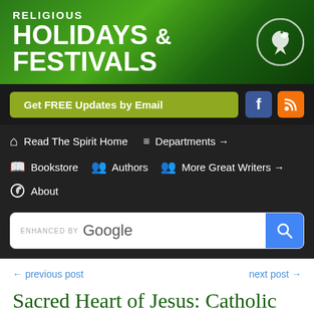[Figure (logo): Religious Holidays & Festivals website header banner with green gradient background and dove logo]
Get FREE Updates by Email
[Figure (logo): Facebook icon blue square]
[Figure (logo): RSS feed icon orange square]
Read The Spirit Home
Departments →
Bookstore
Authors
More Great Writers →
About
[Figure (screenshot): Google enhanced search bar with blue search button]
← previous post
next post →
Sacred Heart of Jesus: Catholic Christians reflect on the love, heart of Christ